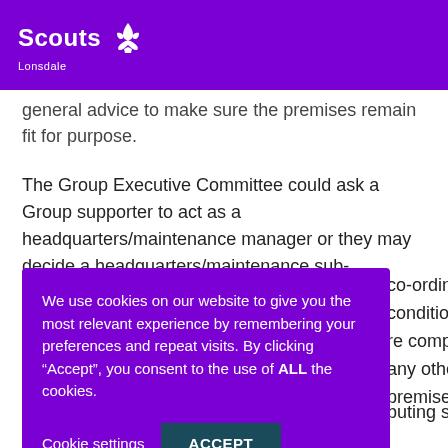Scouts Lonsdale
general advice to make sure the premises remain fit for purpose.
The Group Executive Committee could ask a Group supporter to act as a headquarters/maintenance manager or they may decide a headquarters/maintenance sub-committee is necessary.
We use cookies on our website to give you the most relevant experience by remembering your preferences and repeat visits. By clicking “Accept”, you consent to the use of ALL the cookies.
Cookie settings
ACCEPT
co-ordinate this condition of the re compliance any other premises.
buting section of